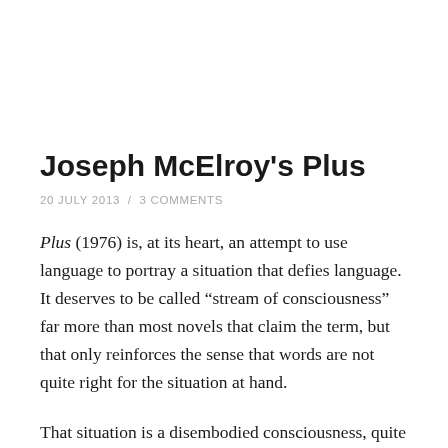Joseph McElroy's Plus
20 JULY 2013  /  3 COMMENTS
Plus (1976) is, at its heart, an attempt to use language to portray a situation that defies language. It deserves to be called “stream of consciousness” far more than most novels that claim the term, but that only reinforces the sense that words are not quite right for the situation at hand.
That situation is a disembodied consciousness, quite literally a brain in a vat, though in this case the vat is a